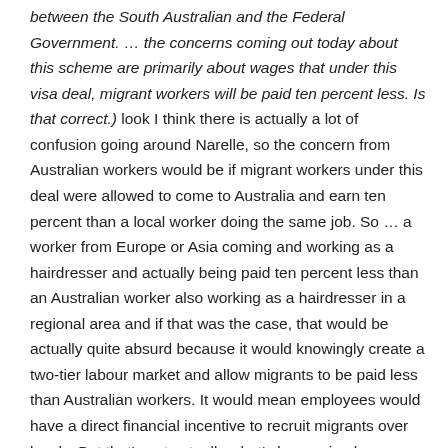between the South Australian and the Federal Government.  … the concerns coming out today about this scheme are primarily about wages that under this visa deal, migrant workers will be paid ten percent less.  Is that correct.)  look I think there is actually a lot of confusion going around Narelle, so the concern from Australian workers would be if migrant workers under this deal were allowed to come to Australia and earn ten percent than a local worker doing the same job.  So … a worker from Europe or Asia coming and working as a hairdresser and actually being paid ten percent less than an Australian worker also working as a hairdresser in a regional area and if that was the case, that would be actually quite absurd because it would knowingly create a two-tier labour market and allow migrants to be paid less than Australian workers.  It would mean employees would have a direct financial incentive to recruit migrants over locals.  But that's not actually what's happening here so the debate today is actually a little bit of a beat-up in my opinion … so this is sort of an artificial flaw from skilled migrants coming to Australia they have to earn above